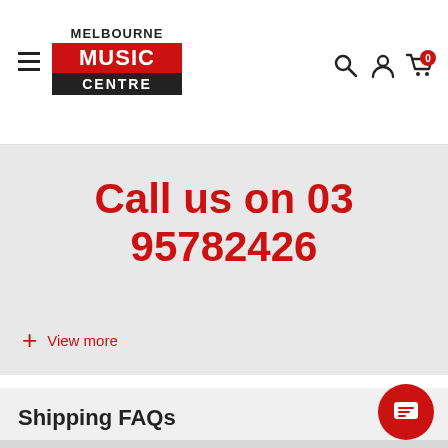Melbourne Music Centre
Call us on 03 95782426
+ View more
Shipping FAQs